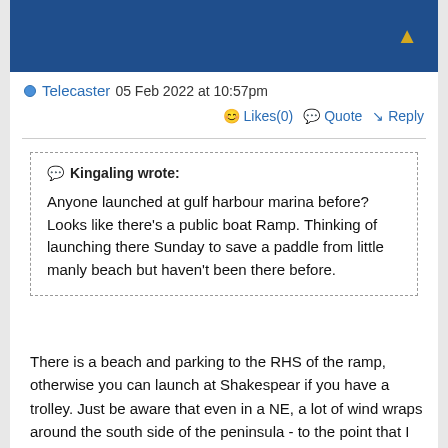Telecaster 05 Feb 2022 at 10:57pm
Likes(0)  Quote  Reply
Kingaling wrote:

Anyone launched at gulf harbour marina before? Looks like there's a public boat Ramp. Thinking of launching there Sunday to save a paddle from little manly beach but haven't been there before.
There is a beach and parking to the RHS of the ramp, otherwise you can launch at Shakespear if you have a trolley. Just be aware that even in a NE, a lot of wind wraps around the south side of the peninsula - to the point that I scarcely bother